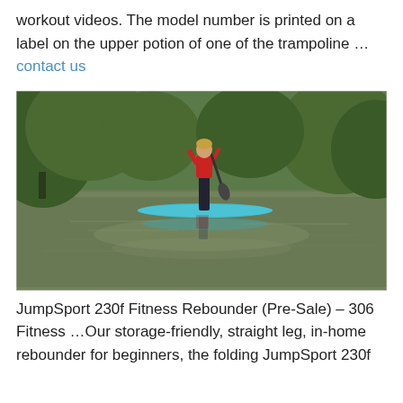workout videos. The model number is printed on a label on the upper potion of one of the trampoline …contact us
[Figure (photo): A person standing on a stand-up paddleboard on a calm river or lake, holding a paddle, wearing a red life jacket and black wetsuit. Green trees in the background.]
JumpSport 230f Fitness Rebounder (Pre-Sale) – 306 Fitness …Our storage-friendly, straight leg, in-home rebounder for beginners, the folding JumpSport 230f